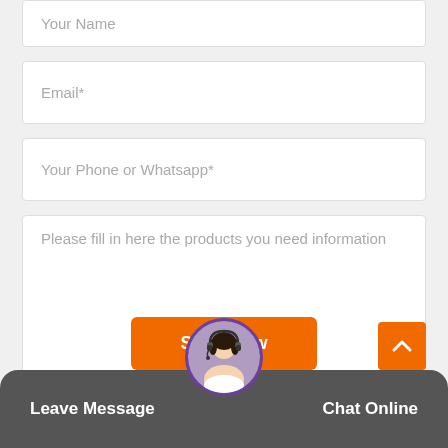[Figure (screenshot): A contact form screenshot showing fields: Your Name (partially visible at top), Email*, Your Phone or Whatsapp*, a textarea 'Please fill in here the products you need information', a Send Now orange button, a back-to-top orange button, and a dark bottom bar with Leave Message and Chat Online options with a customer service avatar in the center.]